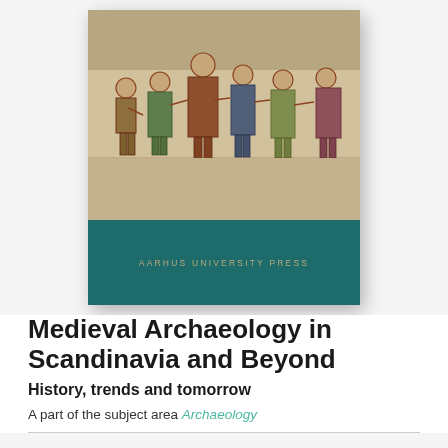[Figure (illustration): Book cover of 'Medieval Archaeology in Scandinavia and Beyond' published by Aarhus University Press. Top portion shows a medieval fresco painting with figures in period clothing in muted earth tones. Bottom portion is a dark teal band with 'AARHUS UNIVERSITY PRESS' in gold/tan spaced lettering.]
Medieval Archaeology in Scandinavia and Beyond
History, trends and tomorrow
A part of the subject area Archaeology